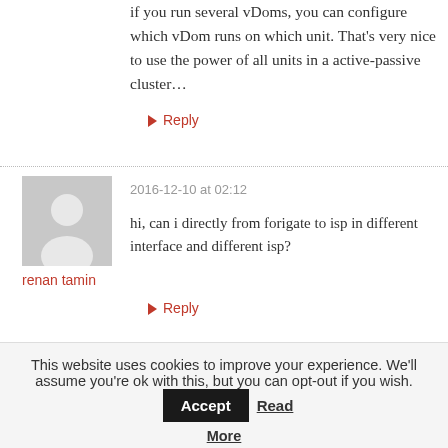if you run several vDoms, you can configure which vDom runs on which unit. That's very nice to use the power of all units in a active-passive cluster…
↳ Reply
[Figure (illustration): Generic user avatar silhouette on grey background]
2016-12-10 at 02:12
renan tamin
hi, can i directly from forigate to isp in different interface and different isp?
↳ Reply
This website uses cookies to improve your experience. We'll assume you're ok with this, but you can opt-out if you wish. Accept Read More